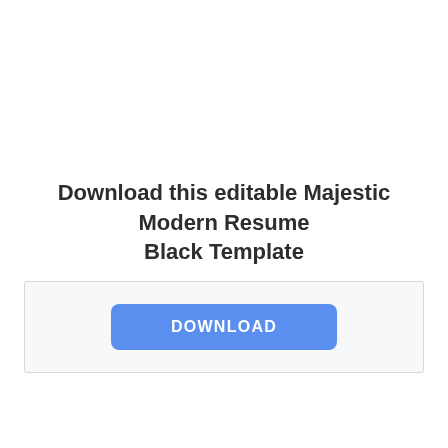Download this editable Majestic Modern Resume Black Template
[Figure (other): A download button styled in blue with white uppercase text reading DOWNLOAD, inside a light gray bordered box.]